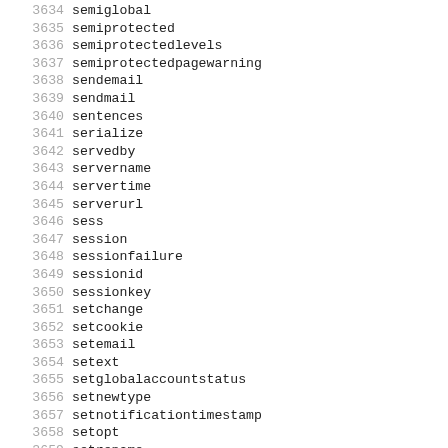3634 semiglobal
3635 semiprotected
3636 semiprotectedlevels
3637 semiprotectedpagewarning
3638 sendemail
3639 sendmail
3640 sentences
3641 serialize
3642 servedby
3643 servername
3644 servertime
3645 serverurl
3646 sess
3647 session
3648 sessionfailure
3649 sessionid
3650 sessionkey
3651 setchange
3652 setcookie
3653 setemail
3654 setext
3655 setglobalaccountstatus
3656 setnewtype
3657 setnotificationtimestamp
3658 setopt
3659 setrename
3660 setrlimit
3661 setstatus
3662 sha
3663 shar
3664 sharding
3665 shared
3666 shareddescriptionfollows